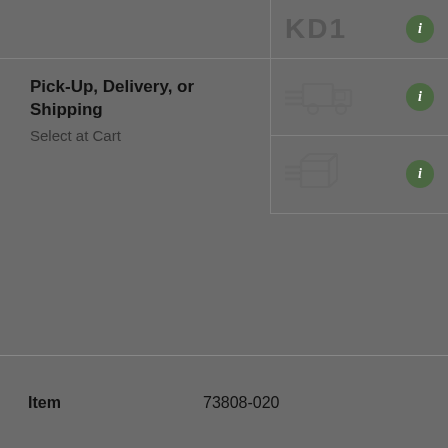[Figure (screenshot): Partial logo text (cropped) at top of page]
Pick-Up, Delivery, or Shipping
Select at Cart
[Figure (illustration): Truck/delivery icon with speed lines]
[Figure (illustration): Box/package shipping icon with speed lines]
| Field | Value |
| --- | --- |
| Item | 73808-020 |
| Size | 2 in. |
| Available | 0 |
| Location | Special Order Only. |
This item is not stocked nearby. If you need this item now, you can Check In Stock items at Other Stores in your expanded area, or contact your